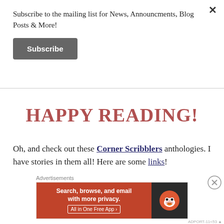×
Subscribe to the mailing list for News, Announcments, Blog Posts & More!
[Figure (other): Subscribe button — dark grey rounded rectangle with white bold text 'Subscribe']
HAPPY READING!
Oh, and check out these Corner Scribblers anthologies. I have stories in them all! Here are some links!
Advertisements
[Figure (other): DuckDuckGo advertisement banner: left orange section reads 'Search, browse, and email with more privacy. All in One Free App', right dark section shows DuckDuckGo duck logo.]